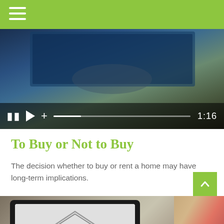[Figure (screenshot): Video player showing a person using a laptop/tablet, with playback controls (pause, play, plus, progress bar) and timestamp 1:16]
To Buy or Not to Buy
The decision whether to buy or rent a home may have long-term implications.
[Figure (photo): A tablet displaying a blueprint/architectural drawing of a house, with a measuring tape, placed on a desk with a notebook and other items]